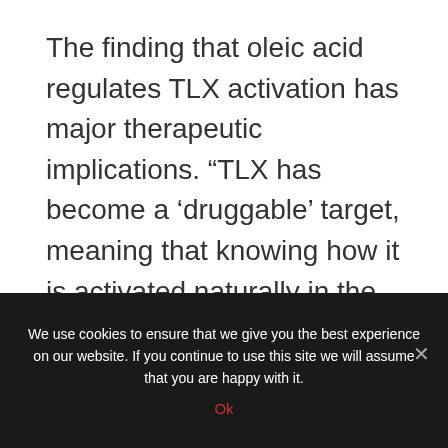The finding that oleic acid regulates TLX activation has major therapeutic implications. “TLX has become a ‘druggable’ target, meaning that knowing how it is activated naturally in the brain helps us to develop drugs capable of entering the brain and stimulating neurogenesis,” Young said. “This strategy could potentially be used to treat diseases such as major depressive disorders and Alzheimer’s disease. This is incredibly exciting because it provides a new way of treating these debilitating diseases in need of effective treatments.”
We use cookies to ensure that we give you the best experience on our website. If you continue to use this site we will assume that you are happy with it.
Ok